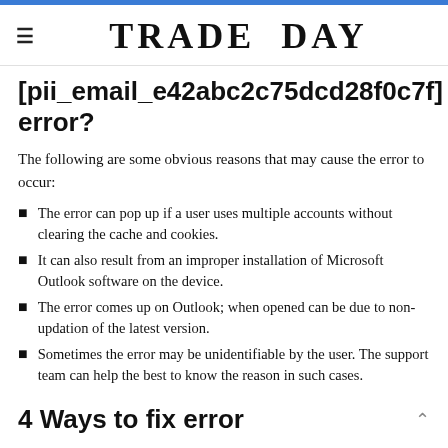TRADE DAY
[pii_email_e42abc2c75dcd28f0c7f] error?
The following are some obvious reasons that may cause the error to occur:
The error can pop up if a user uses multiple accounts without clearing the cache and cookies.
It can also result from an improper installation of Microsoft Outlook software on the device.
The error comes up on Outlook; when opened can be due to non-updation of the latest version.
Sometimes the error may be unidentifiable by the user. The support team can help the best to know the reason in such cases.
4 Ways to fix error